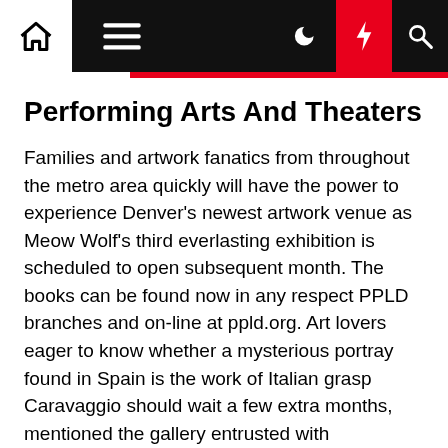[Navigation bar with home, menu, moon, lightning, and search icons]
Performing Arts And Theaters
Families and artwork fanatics from throughout the metro area quickly will have the power to experience Denver's newest artwork venue as Meow Wolf's third everlasting exhibition is scheduled to open subsequent month. The books can be found now in any respect PPLD branches and on-line at ppld.org. Art lovers eager to know whether a mysterious portray found in Spain is the work of Italian grasp Caravaggio should wait a few extra months, mentioned the gallery entrusted with establishing who the artist is. Station North continues to function a national model for Arts & Entertainment Districts. When Dropkick Murphys partnered with Brightcove to stay stream a live performance from a fanless